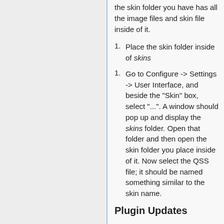the skin folder you have has all the image files and skin file inside of it.
Place the skin folder inside of skins
Go to Configure -> Settings -> User Interface, and beside the "Skin" box, select "...". A window should pop up and display the skins folder. Open that folder and then open the skin folder you place inside of it. Now select the QSS file; it should be named something similar to the skin name.
Plugin Updates